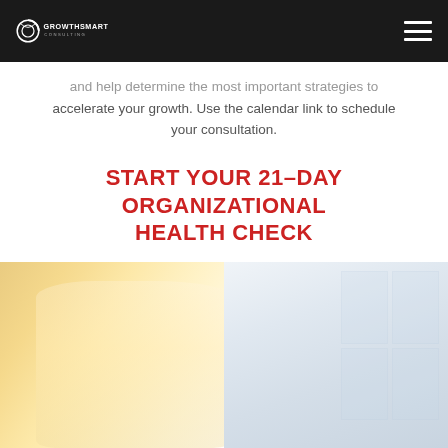GrowthSmart Consulting logo and navigation
and help determine the most important strategies to accelerate your growth. Use the calendar link to schedule your consultation.
START YOUR 21-DAY ORGANIZATIONAL HEALTH CHECK
[Figure (photo): Photo of a person in a white shirt near a window with shelving, bright warm light on the left side]